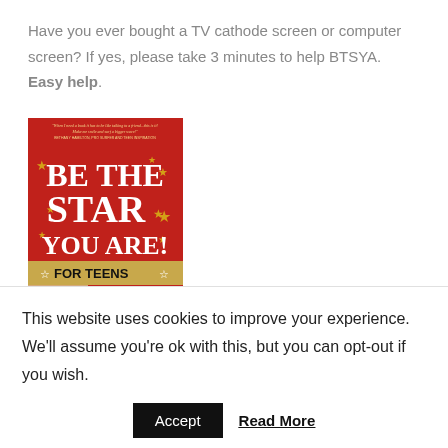Have you ever bought a TV cathode screen or computer screen? If yes, please take 3 minutes to help BTSYA. Easy help.
[Figure (photo): Book cover of 'Be The Star You Are! For Teens' by Cynthia Brian. Red background with gold stars, subtitle reads 'Simple Gifts for Living, Loving, Laughing, Learning, and Leading'.]
This website uses cookies to improve your experience. We'll assume you're ok with this, but you can opt-out if you wish.
Accept   Read More